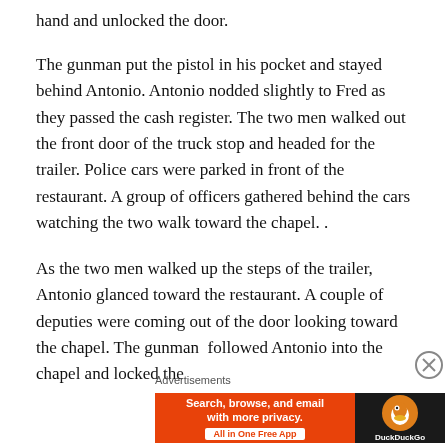hand and unlocked the door.
The gunman put the pistol in his pocket and stayed behind Antonio. Antonio nodded slightly to Fred as they passed the cash register. The two men walked out the front door of the truck stop and headed for the trailer. Police cars were parked in front of the restaurant. A group of officers gathered behind the cars watching the two walk toward the chapel. .
As the two men walked up the steps of the trailer, Antonio glanced toward the restaurant. A couple of deputies were coming out of the door looking toward the chapel. The gunman  followed Antonio into the chapel and locked the
Advertisements
[Figure (screenshot): DuckDuckGo advertisement banner: orange section with text 'Search, browse, and email with more privacy. All in One Free App' and dark section with DuckDuckGo logo]